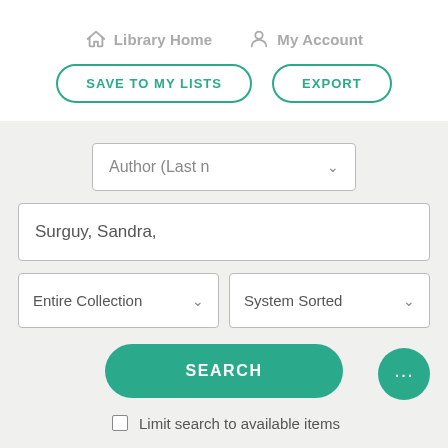Library Home   My Account
SAVE TO MY LISTS   EXPORT
[Figure (screenshot): Library catalog search interface with author dropdown showing 'Author (Last n...', text input with 'Surguy, Sandra,', Entire Collection and System Sorted dropdowns, a teal SEARCH button, chat bubble icon, and 'Limit search to available items' checkbox]